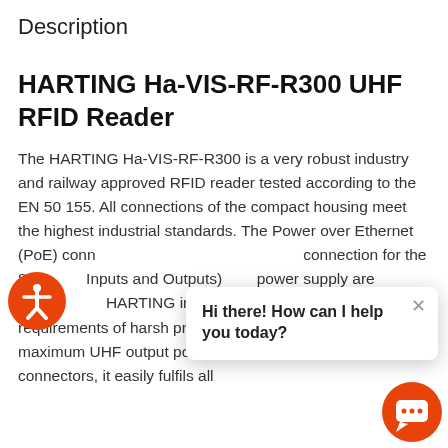Description
HARTING Ha-VIS-RF-R300 UHF RFID Reader
The HARTING Ha-VIS-RF-R300 is a very robust industry and railway approved RFID reader tested according to the EN 50 155. All connections of the compact housing meet the highest industrial standards. The Power over Ethernet (PoE) connection for the 8… Inputs and Outputs)… power supply are co… HARTING in connectors – fulfilling the requirements of harsh project environment. With a maximum UHF output power of 0.5 W… on both RP-TNC connectors, it easily fulfils all
[Figure (infographic): Orange circular accessibility icon button with person silhouette]
[Figure (infographic): Wi-Fi signal icon (orange/red)]
[Figure (infographic): Chat popup box: 'Hi there! How can I help you today?' with close X button, and orange chat bubble button in bottom right corner]